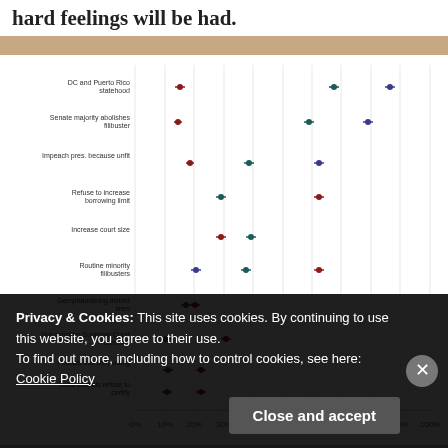hard feelings will be had.
[Figure (scatter-plot): Dot plot with error bars showing percentage responses for various political scenarios. Two series: red dots (Republican) and dark teal/green dots (Democrat). Categories include DC and Puerto Rico statehood, Senate majority abolishes filibuster, Impeach pres. because unfit, Refuse to increase borrowing limit, Increase court size, Routine minority filibusters, Gerrymandering district lines, Not consider Supreme Court nominee, Policies that limit voting, Local officials refuse to certify, Congress refuses to certify, State legislature electors against popular vote. X-axis from 0% to 100%.]
Privacy & Cookies: This site uses cookies. By continuing to use this website, you agree to their use.
To find out more, including how to control cookies, see here: Cookie Policy
Close and accept